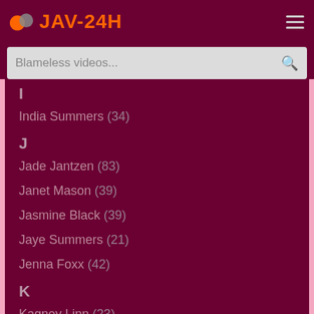JAV-24H
Blameless videos...
I
India Summers (34)
J
Jade Jantzen (83)
Janet Mason (39)
Jasmine Black (39)
Jaye Summers (21)
Jenna Foxx (42)
K
Kagney Linn (23)
Karen Fisher (39)
Karen Summers (21)
Karlee Grey (76)